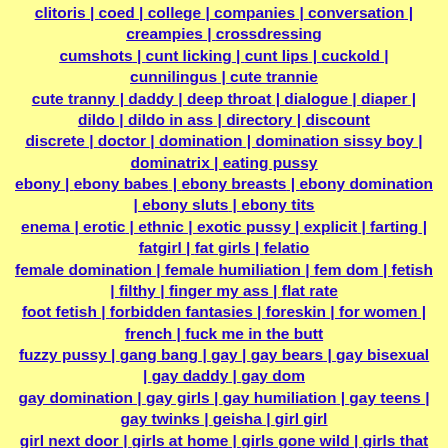clitoris | coed | college | companies | conversation | creampies | crossdressing | cumshots | cunt licking | cunt lips | cuckold | cunnilingus | cute trannie | cute tranny | daddy | deep throat | dialogue | diaper | dildo | dildo in ass | directory | discount | discrete | doctor | domination | domination sissy boy | dominatrix | eating pussy | ebony | ebony babes | ebony breasts | ebony domination | ebony sluts | ebony tits | enema | erotic | ethnic | exotic pussy | explicit | farting | fatgirl | fat girls | felatio | female domination | female humiliation | fem dom | fetish | filthy | finger my ass | flat rate | foot fetish | forbidden fantasies | foreskin | for women | french | fuck me in the butt | fuzzy pussy | gang bang | gay | gay bears | gay bisexual | gay daddy | gay dom | gay domination | gay girls | gay humiliation | gay teens | gay twinks | geisha | girl girl | girl next door | girls at home | girls gone wild | girls that masturbate | girls that swallow | gloryhole | goddess | good | grandma | grandpa | granny | great | group | handjob | hairy pussy | hard nipples | home | hardon | hotline |